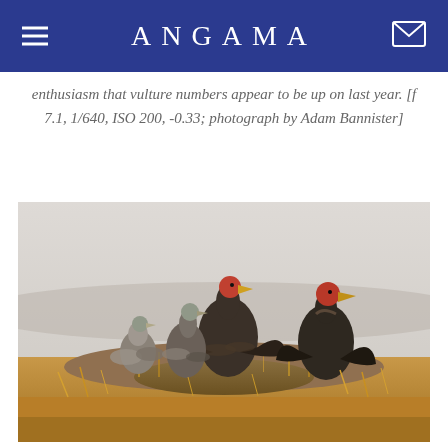ANGAMA
enthusiasm that vulture numbers appear to be up on last year. [f 7.1, 1/640, ISO 200, -0.33; photograph by Adam Bannister]
[Figure (photo): A group of vultures perched on a grassy mound in the Maasai Mara savanna. Several large dark-feathered lappet-faced vultures with distinctive red heads are prominent, alongside a smaller white-backed vulture. The background shows a misty, hazy savanna landscape with golden dry grass.]